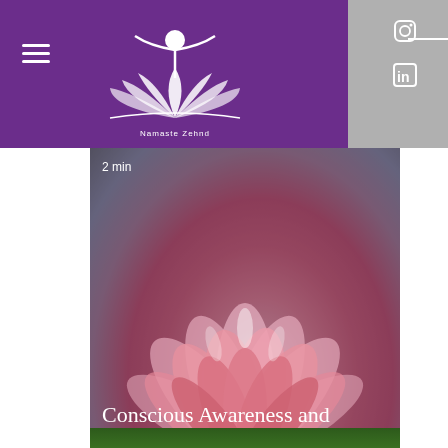[Figure (logo): White lotus/meditation figure logo with text 'Namaste Zehnd' on purple header background]
[Figure (photo): Close-up photograph of a pink lotus flower filling the card area, with text overlay showing '2 min', title 'Conscious Awareness and Personal...', a white divider line, a heart/like icon showing '1', and a scroll-up button in the bottom right corner]